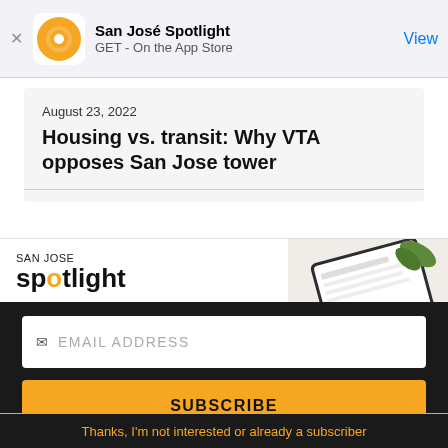[Figure (screenshot): App Store smart banner for San José Spotlight with orange circular logo, app name, GET - On the App Store, and View button]
August 23, 2022
Housing vs. transit: Why VTA opposes San Jose tower
[Figure (screenshot): San José Spotlight advertisement showing logo, tagline 'Where San Jose locals start the day.', sanjosespotlight.com, and image of tablet with coffee]
EMAIL ADDRESS
SUBSCRIBE
Thanks, I'm not interested or already a subscriber